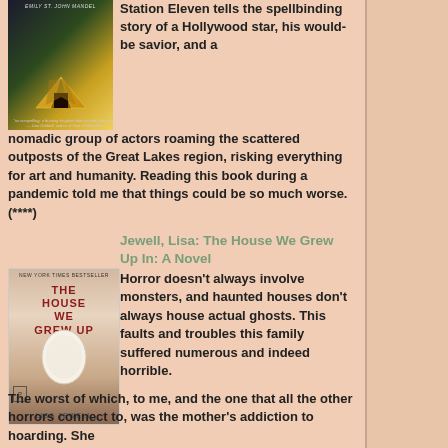[Figure (illustration): Book cover of Station Eleven by Emily St. John Mandel, showing golden tents against a dark background]
Station Eleven tells the spellbinding story of a Hollywood star, his would-be savior, and a nomadic group of actors roaming the scattered outposts of the Great Lakes region, risking everything for art and humanity. Reading this book during a pandemic told me that things could be so much worse. (****)
[Figure (illustration): Book cover of The House We Grew Up In by Lisa Jewell, showing a large egg against a soft background]
Jewell, Lisa: The House We Grew Up In: A Novel
Horror doesn't always involve monsters, and haunted houses don't always house actual ghosts. This faults and troubles this family suffered numerous and indeed horrible. The worst of which, to me, and the one that all the other horrors connect to, was the mother's addiction to hoarding. She